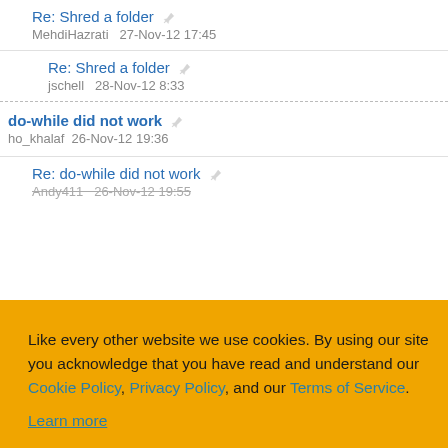Re: Shred a folder
MehdiHazrati   27-Nov-12 17:45
Re: Shred a folder
jschell   28-Nov-12 8:33
do-while did not work
ho_khalaf   26-Nov-12 19:36
Re: do-while did not work
Andy411   26-Nov-12 19:55
Like every other website we use cookies. By using our site you acknowledge that you have read and understand our Cookie Policy, Privacy Policy, and our Terms of Service. Learn more
eclipse